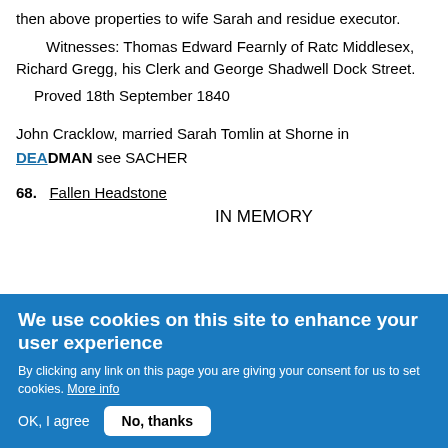then above properties to wife Sarah and residue executor.
Witnesses: Thomas Edward Fearnly of Ratc Middlesex, Richard Gregg, his Clerk and George Shadwell Dock Street.
Proved 18th September 1840
John Cracklow, married Sarah Tomlin at Shorne in
DEADMAN see SACHER
68.   Fallen Headstone
IN MEMORY
We use cookies on this site to enhance your user experience
By clicking any link on this page you are giving your consent for us to set cookies. More info
OK, I agree   No, thanks